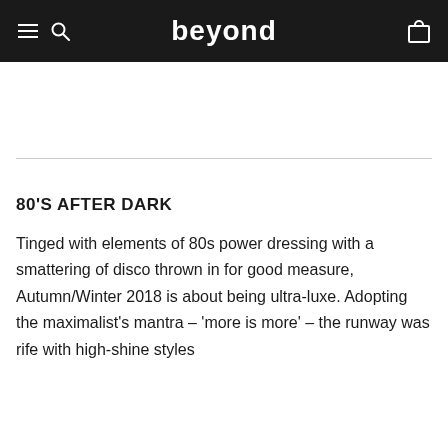beyond
80'S AFTER DARK
Tinged with elements of 80s power dressing with a smattering of disco thrown in for good measure, Autumn/Winter 2018 is about being ultra-luxe. Adopting the maximalist's mantra – 'more is more' – the runway was rife with high-shine styles